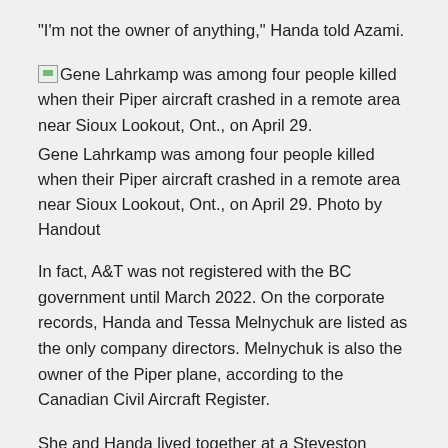“I’m not the owner of anything,” Handa told Azami.
[Figure (photo): Placeholder image thumbnail for Gene Lahrkamp photo with broken image icon, followed by caption text: Gene Lahrkamp was among four people killed when their Piper aircraft crashed in a remote area near Sioux Lookout, Ont., on April 29.]
Gene Lahrkamp was among four people killed when their Piper aircraft crashed in a remote area near Sioux Lookout, Ont., on April 29. Photo by Handout
In fact, A&T was not registered with the BC government until March 2022. On the corporate records, Handa and Tessa Melnychuk are listed as the only company directors. Melnychuk is also the owner of the Piper plane, according to the Canadian Civil Aircraft Register.
She and Handa lived together at a Steveston address, the records show. She has not responded to numerous messages left by Postmedia.
Handa, 26, told Azami the Piper flew out of the Boundary